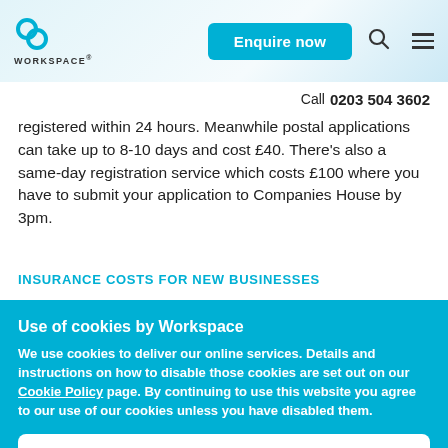WORKSPACE® | Enquire now | Call 0203 504 3602
registered within 24 hours. Meanwhile postal applications can take up to 8-10 days and cost £40. There's also a same-day registration service which costs £100 where you have to submit your application to Companies House by 3pm.
INSURANCE COSTS FOR NEW BUSINESSES
Use of cookies by Workspace
We use cookies to deliver our online services. Details and instructions on how to disable those cookies are set out on our Cookie Policy page. By continuing to use this website you agree to our use of our cookies unless you have disabled them.
Accept cookies